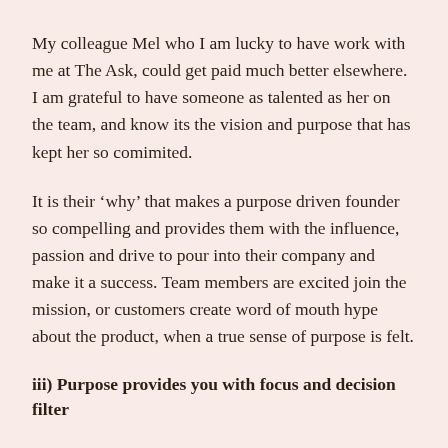My colleague Mel who I am lucky to have work with me at The Ask, could get paid much better elsewhere. I am grateful to have someone as talented as her on the team, and know its the vision and purpose that has kept her so comimited.
It is their ‘why’ that makes a purpose driven founder so compelling and provides them with the influence, passion and drive to pour into their company and make it a success. Team members are excited join the mission, or customers create word of mouth hype about the product, when a true sense of purpose is felt.
iii) Purpose provides you with focus and decision filter
With purpose front and centre, decisions about what to do as you build your business become clearer — and